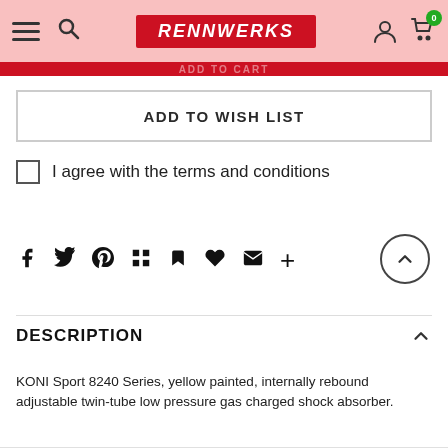RennWerks — navigation bar with hamburger menu, search, logo, user icon, cart (0)
ADD TO CART
ADD TO WISH LIST
I agree with the terms and conditions
[Figure (other): Social share icons row: Facebook, Twitter, Pinterest, grid/apps, bookmark, heart, mail, plus]
[Figure (other): Back to top circular button with upward chevron arrow]
DESCRIPTION
KONI Sport 8240 Series, yellow painted, internally rebound adjustable twin-tube low pressure gas charged shock absorber.